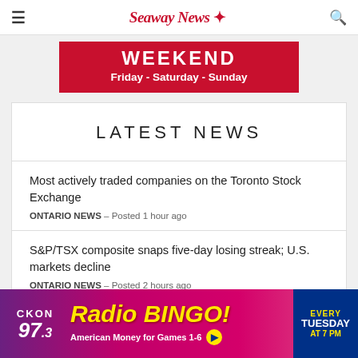Seaway News
[Figure (other): Weekend banner: red background with white bold text 'WEEKEND' and 'Friday - Saturday - Sunday']
LATEST NEWS
Most actively traded companies on the Toronto Stock Exchange
ONTARIO NEWS – Posted 1 hour ago
S&P/TSX composite snaps five-day losing streak; U.S. markets decline
ONTARIO NEWS – Posted 2 hours ago
[Figure (other): CKON 97.3 Radio BINGO advertisement banner. Yellow text 'Radio BINGO!' on purple/pink gradient. 'American Money for Games 1-6'. Blue panel: 'EVERY TUESDAY AT 7 PM']